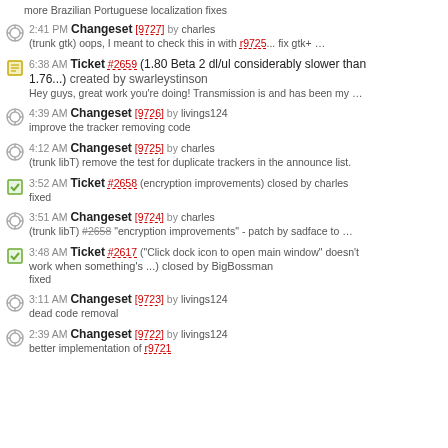more Brazilian Portuguese localization fixes
2:41 PM Changeset [9727] by charles — (trunk gtk) oops, I meant to check this in with r9725... fix gtk+ ...
6:38 AM Ticket #2659 (1.80 Beta 2 dl/ul considerably slower than 1.76...) created by swarleystinson — Hey guys, great work you're doing! Transmission is and has been my ...
4:39 AM Changeset [9726] by livings124 — improve the tracker removing code
4:12 AM Changeset [9725] by charles — (trunk libT) remove the test for duplicate trackers in the announce list.
3:52 AM Ticket #2658 (encryption improvements) closed by charles — fixed
3:51 AM Changeset [9724] by charles — (trunk libT) #2658 "encryption improvements" - patch by sadface to ...
3:48 AM Ticket #2617 ("Click dock icon to open main window" doesn't work when something's ...) closed by BigBossman — fixed
3:11 AM Changeset [9723] by livings124 — dead code removal
2:39 AM Changeset [9722] by livings124 — better implementation of r9721